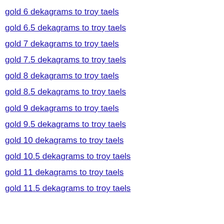gold 6 dekagrams to troy taels
gold 6.5 dekagrams to troy taels
gold 7 dekagrams to troy taels
gold 7.5 dekagrams to troy taels
gold 8 dekagrams to troy taels
gold 8.5 dekagrams to troy taels
gold 9 dekagrams to troy taels
gold 9.5 dekagrams to troy taels
gold 10 dekagrams to troy taels
gold 10.5 dekagrams to troy taels
gold 11 dekagrams to troy taels
gold 11.5 dekagrams to troy taels